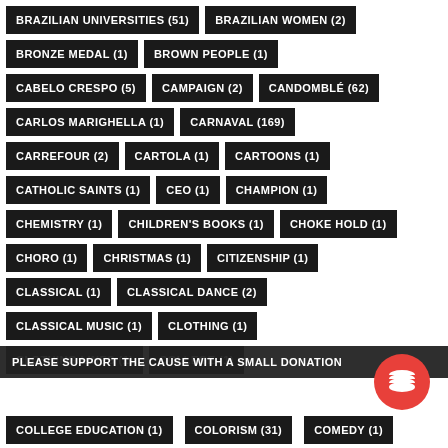BRAZILIAN UNIVERSITIES (51)
BRAZILIAN WOMEN (2)
BRONZE MEDAL (1)
BROWN PEOPLE (1)
CABELO CRESPO (5)
CAMPAIGN (2)
CANDOMBLÉ (62)
CARLOS MARIGHELLA (1)
CARNAVAL (169)
CARREFOUR (2)
CARTOLA (1)
CARTOONS (1)
CATHOLIC SAINTS (1)
CEO (1)
CHAMPION (1)
CHEMISTRY (1)
CHILDREN'S BOOKS (1)
CHOKE HOLD (1)
CHORO (1)
CHRISTMAS (1)
CITIZENSHIP (1)
CLASSICAL (1)
CLASSICAL DANCE (2)
CLASSICAL MUSIC (1)
CLOTHING (1)
CLOTHING LINES (1)
COLLEGE (1)
COLLEGE EDUCATION (1)
COLORISM (31)
COMEDY (1)
PLEASE SUPPORT THE CAUSE WITH A SMALL DONATION